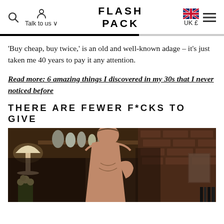Flash Pack — Talk to us | UK £
'Buy cheap, buy twice,' is an old and well-known adage – it's just taken me 40 years to pay it any attention.
Read more: 6 amazing things I discovered in my 30s that I never noticed before
THERE ARE FEWER F*CKS TO GIVE
[Figure (photo): A shirtless middle-aged man standing in a room with brick walls, wooden shelving with vases, a lamp and flowers visible in the background.]